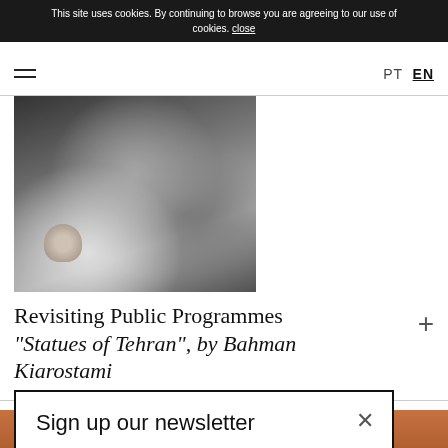This site uses cookies. By continuing to browse you are agreeing to our use of cookies. close
[Figure (photo): Black and white photograph showing figures holding or wearing patterned fabric, with a small cherub/baby figurine visible in the lower left]
Revisiting Public Programmes "Statues of Tehran", by Bahman Kiarostami
Sign up our newsletter